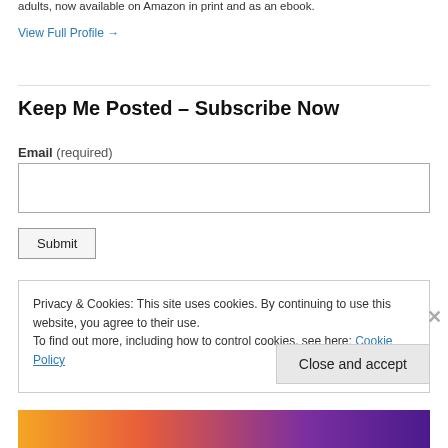adults, now available on Amazon in print and as an ebook.
View Full Profile →
Keep Me Posted – Subscribe Now
Email (required)
Submit
Privacy & Cookies: This site uses cookies. By continuing to use this website, you agree to their use.
To find out more, including how to control cookies, see here: Cookie Policy
Close and accept